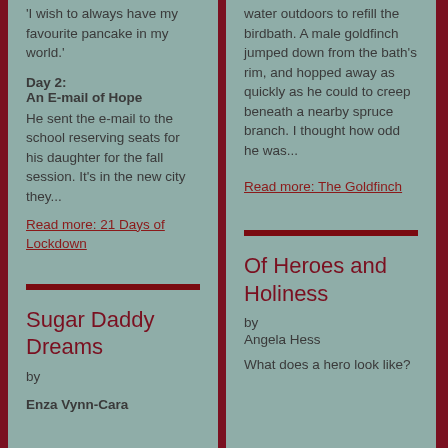'I wish to always have my favourite pancake in my world.'
Day 2:
An E-mail of Hope
He sent the e-mail to the school reserving seats for his daughter for the fall session. It's in the new city they...
Read more: 21 Days of Lockdown
Sugar Daddy Dreams
by
Enza Vynn-Cara
water outdoors to refill the birdbath. A male goldfinch jumped down from the bath's rim, and hopped away as quickly as he could to creep beneath a nearby spruce branch. I thought how odd he was...
Read more: The Goldfinch
Of Heroes and Holiness
by
Angela Hess
What does a hero look like?